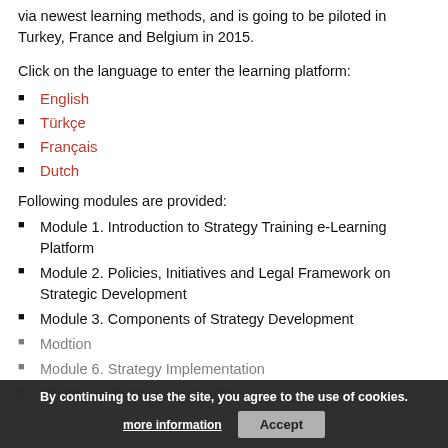via newest learning methods, and is going to be piloted in Turkey, France and Belgium in 2015.
Click on the language to enter the learning platform:
English
Türkçe
Français
Dutch
Following modules are provided:
Module 1. Introduction to Strategy Training e-Learning Platform
Module 2. Policies, Initiatives and Legal Framework on Strategic Development
Module 3. Components of Strategy Development
Module 5. [partially obscured]
Module 6. Strategy Implementation
Module 7. Strategic Leadership
By continuing to use the site, you agree to the use of cookies. more information | Accept